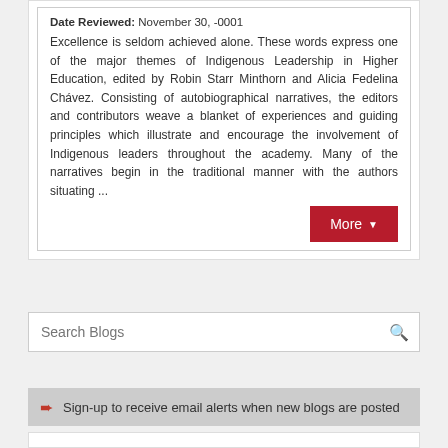Date Reviewed: November 30, -0001
Excellence is seldom achieved alone. These words express one of the major themes of Indigenous Leadership in Higher Education, edited by Robin Starr Minthorn and Alicia Fedelina Chávez. Consisting of autobiographical narratives, the editors and contributors weave a blanket of experiences and guiding principles which illustrate and encourage the involvement of Indigenous leaders throughout the academy. Many of the narratives begin in the traditional manner with the authors situating ...
Search Blogs
Sign-up to receive email alerts when new blogs are posted